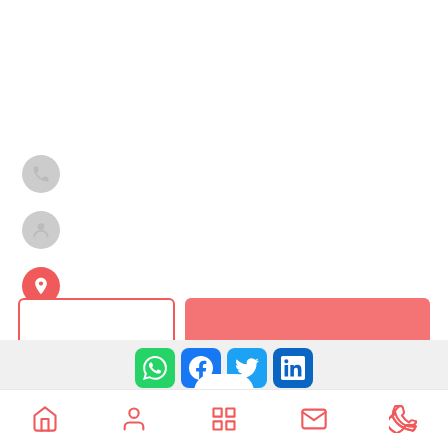[Figure (screenshot): Mobile app UI screen showing left-side icon column with phone, user, location, and direction icons; a text input field and a red/coral action button; a footer with social media icons (WhatsApp, Facebook, Twitter, LinkedIn) and a bottom navigation bar with home, user, grid, mail, and phone icons.]